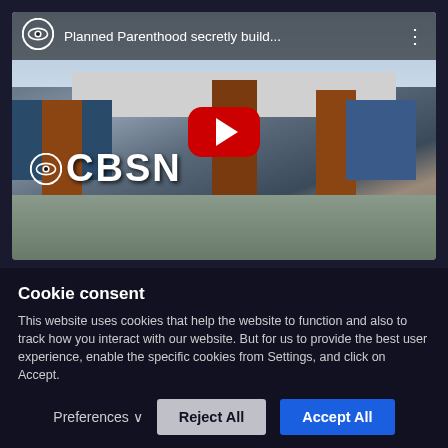[Figure (screenshot): YouTube video thumbnail showing a CBSN news video titled 'Planned Parenthood secretly build...' featuring a building under construction with brick columns and a canopy. A red YouTube play button is centered on the thumbnail. The CBS eye logo and CBSN logo are visible.]
Cookie consent
This website uses cookies that help the website to function and also to track how you interact with our website. But for us to provide the best user experience, enable the specific cookies from Settings, and click on Accept.
Preferences ∨   Reject All   Accept All